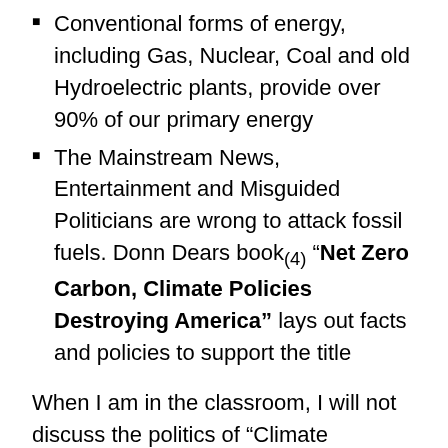Conventional forms of energy, including Gas, Nuclear, Coal and old Hydroelectric plants, provide over 90% of our primary energy
The Mainstream News, Entertainment and Misguided Politicians are wrong to attack fossil fuels. Donn Dears book(4) "Net Zero Carbon, Climate Policies Destroying America" lays out facts and policies to support the title
When I am in the classroom, I will not discuss the politics of "Climate Change", only the facts on energy and electricity. I hope all of my